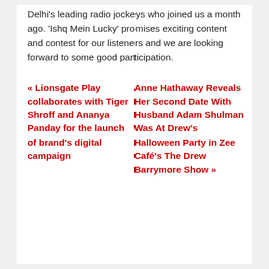Delhi's leading radio jockeys who joined us a month ago. 'Ishq Mein Lucky' promises exciting content and contest for our listeners and we are looking forward to some good participation.
« Lionsgate Play collaborates with Tiger Shroff and Ananya Panday for the launch of brand's digital campaign
Anne Hathaway Reveals Her Second Date With Husband Adam Shulman Was At Drew's Halloween Party in Zee Café's The Drew Barrymore Show »